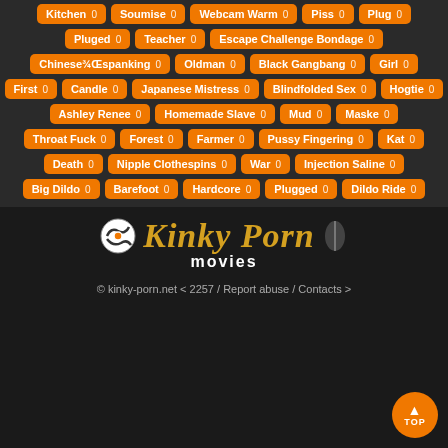Kitchen 0
Soumise 0
Webcam Warm 0
Piss 0
Plug 0
Pluged 0
Teacher 0
Escape Challenge Bondage 0
Chinese¾Œspanking 0
Oldman 0
Black Gangbang 0
Girl 0
First 0
Candle 0
Japanese Mistress 0
Blindfolded Sex 0
Hogtie 0
Ashley Renee 0
Homemade Slave 0
Mud 0
Maske 0
Throat Fuck 0
Forest 0
Farmer 0
Pussy Fingering 0
Kat 0
Death 0
Nipple Clothespins 0
War 0
Injection Saline 0
Big Dildo 0
Barefoot 0
Hardcore 0
Plugged 0
Dildo Ride 0
[Figure (logo): Kinky Porn Movies logo with stylized italic gold text and a ball-gag icon]
© kinky-porn.net < 2257 / Report abuse / Contacts >